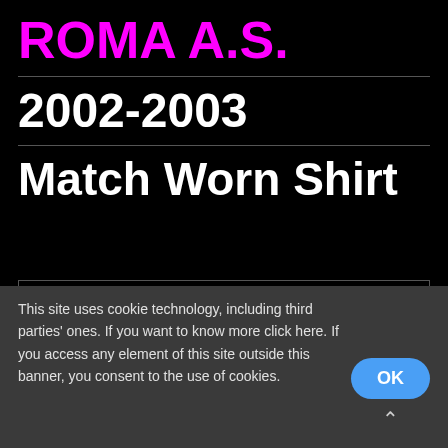ROMA A.S.
2002-2003
Match Worn Shirt
[Figure (photo): Black image placeholder box with border]
This site uses cookie technology, including third parties' ones. If you want to know more click here. If you access any element of this site outside this banner, you consent to the use of cookies.